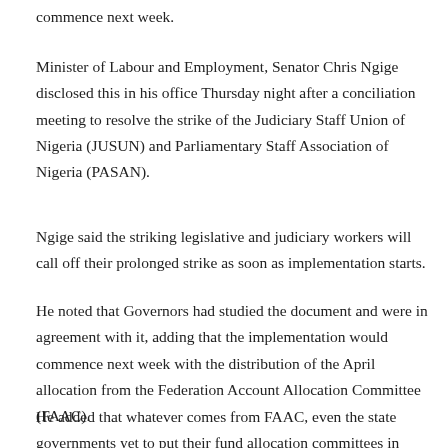commence next week.
Minister of Labour and Employment, Senator Chris Ngige disclosed this in his office Thursday night after a conciliation meeting to resolve the strike of the Judiciary Staff Union of Nigeria (JUSUN) and Parliamentary Staff Association of Nigeria (PASAN).
Ngige said the striking legislative and judiciary workers will call off their prolonged strike as soon as implementation starts.
He noted that Governors had studied the document and were in agreement with it, adding that the implementation would commence next week with the distribution of the April allocation from the Federation Account Allocation Committee (FAAC).
He added that whatever comes from FAAC, even the state governments yet to put their fund allocation committees in